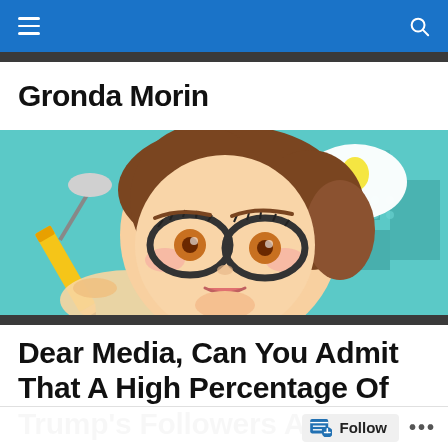Navigation bar with hamburger menu and search icon
Gronda Morin
[Figure (illustration): Cartoon illustration of a girl with brown hair, glasses, holding a pencil, thinking with a lightbulb thought bubble, on a teal/green background]
Dear Media, Can You Admit That A High Percentage Of Trump's Followers Are...
Follow  ...